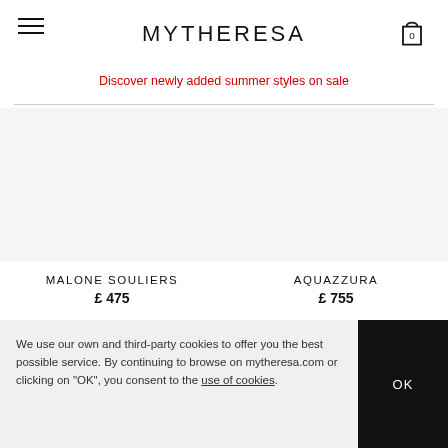MYTHERESA
Discover newly added summer styles on sale
MALONE SOULIERS
£ 475
AQUAZZURA
£ 755
We use our own and third-party cookies to offer you the best possible service. By continuing to browse on mytheresa.com or clicking on "OK", you consent to the use of cookies.